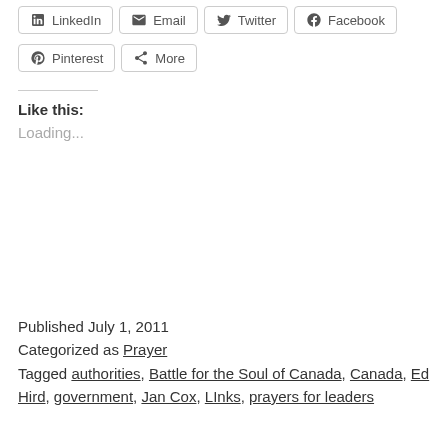[Figure (other): Row of social share buttons: LinkedIn, Email, Twitter, Facebook]
[Figure (other): Row of social share buttons: Pinterest, More]
Like this:
Loading...
Published July 1, 2011
Categorized as Prayer
Tagged authorities, Battle for the Soul of Canada, Canada, Ed Hird, government, Jan Cox, LInks, prayers for leaders